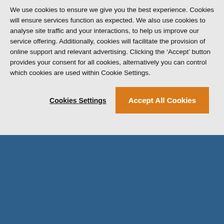We use cookies to ensure we give you the best experience. Cookies will ensure services function as expected. We also use cookies to analyse site traffic and your interactions, to help us improve our service offering. Additionally, cookies will facilitate the provision of online support and relevant advertising. Clicking the 'Accept' button provides your consent for all cookies, alternatively you can control which cookies are used within Cookie Settings.
Cookies Settings
Accept All Cookies
INNOVATION UNLEASHED
© 2022 iPipeline, Inc. All Rights Reserved.
Terms of Service
Security Statement
Privacy & Cookie Notice
[Figure (illustration): Social media icons: Facebook, Twitter, LinkedIn, YouTube — white circles on blue background]